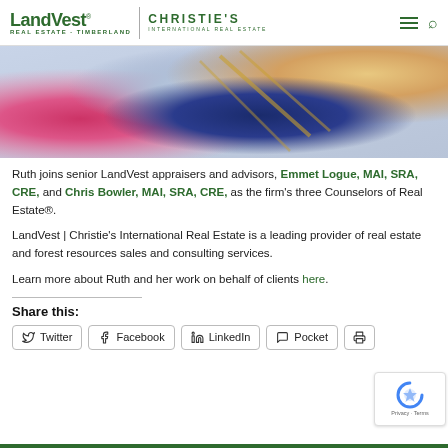LandVest REAL ESTATE · TIMBERLAND | CHRISTIE'S INTERNATIONAL REAL ESTATE
[Figure (photo): Close-up photo of two people from behind, one wearing a bright pink/magenta jacket and another wearing a blue/gold patterned scarf, with blonde hair visible on the right.]
Ruth joins senior LandVest appraisers and advisors, Emmet Logue, MAI, SRA, CRE, and Chris Bowler, MAI, SRA, CRE, as the firm's three Counselors of Real Estate®.
LandVest | Christie's International Real Estate is a leading provider of real estate and forest resources sales and consulting services.
Learn more about Ruth and her work on behalf of clients here.
Share this:
Twitter | Facebook | LinkedIn | Pocket